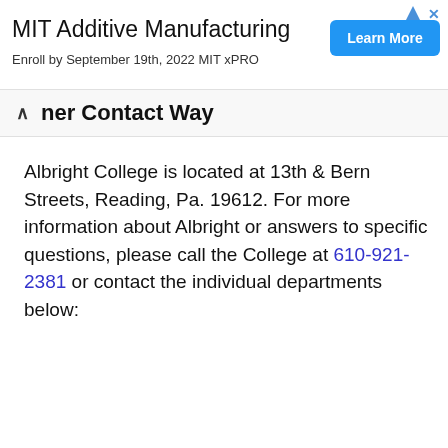[Figure (other): Advertisement banner for MIT Additive Manufacturing course with 'Learn More' button. Text: MIT Additive Manufacturing, Enroll by September 19th, 2022 MIT xPRO]
ner Contact Way
Albright College is located at 13th & Bern Streets, Reading, Pa. 19612. For more information about Albright or answers to specific questions, please call the College at 610-921-2381 or contact the individual departments below: